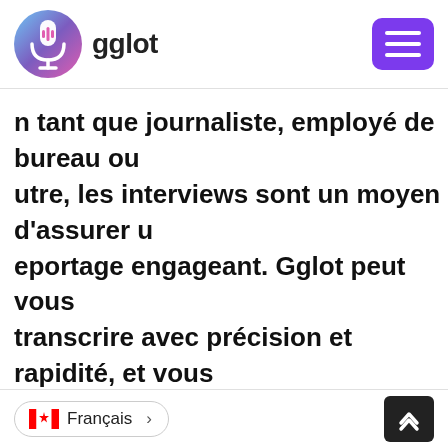gglot
n tant que journaliste, employé de bureau ou utre, les interviews sont un moyen d'assurer u eportage engageant. Gglot peut vous transcrire avec précision et rapidité, et vous pouvez rectifier ou supprimer ces bégaiements utiles avec notre éditeur en ligne. Passez moins de temps sur la transcription et plus de temps sur l'analyse !
Français